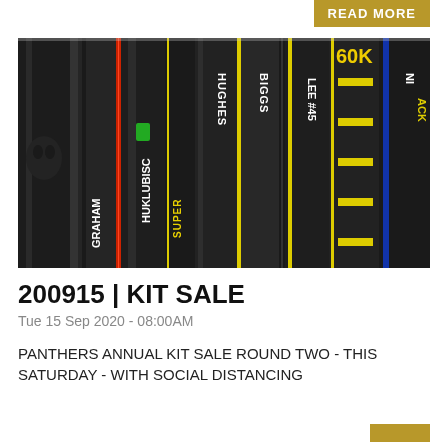READ MORE
[Figure (photo): Close-up photo of multiple ice hockey sticks bundled together with player names visible: GRAHAM, HUKLUBISC, HUGHES, BIGGS, SUPER, LEE #45, and partial names/numbers on yellow and black sticks]
200915 | KIT SALE
Tue 15 Sep 2020 - 08:00AM
PANTHERS ANNUAL KIT SALE ROUND TWO - THIS SATURDAY - WITH SOCIAL DISTANCING